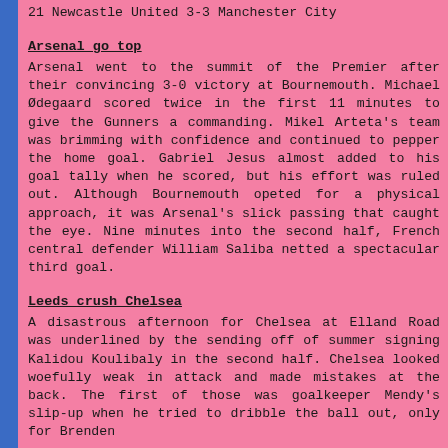21 Newcastle United 3-3 Manchester City
Arsenal go top
Arsenal went to the summit of the Premier after their convincing 3-0 victory at Bournemouth. Michael Ødegaard scored twice in the first 11 minutes to give the Gunners a commanding. Mikel Arteta's team was brimming with confidence and continued to pepper the home goal. Gabriel Jesus almost added to his goal tally when he scored, but his effort was ruled out. Although Bournemouth opeted for a physical approach, it was Arsenal's slick passing that caught the eye. Nine minutes into the second half, French central defender William Saliba netted a spectacular third goal.
Leeds crush Chelsea
A disastrous afternoon for Chelsea at Elland Road was underlined by the sending off of summer signing Kalidou Koulibaly in the second half. Chelsea looked woefully weak in attack and made mistakes at the back. The first of those was goalkeeper Mendy's slip-up when he tried to dribble the ball out, only for Brenden